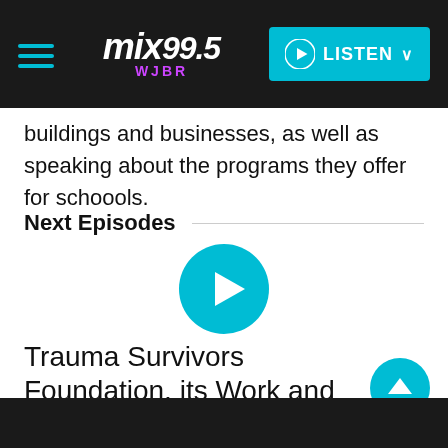mix 99.5 WJBR — LISTEN
buildings and businesses, as well as speaking about the programs they offer for schoools.
Next Episodes
[Figure (other): Cyan play button circle (large)]
Trauma Survivors Foundation, its Work and its Delaware Beer Fest
00:29  Download  August 19th